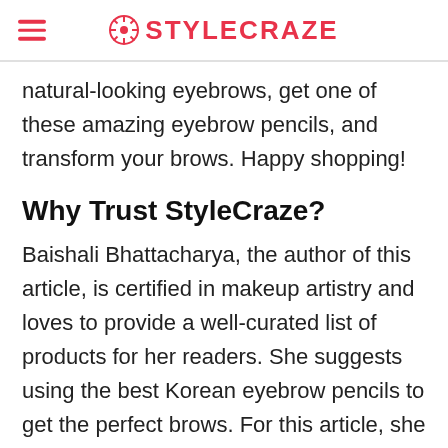STYLECRAZE
natural-looking eyebrows, get one of these amazing eyebrow pencils, and transform your brows. Happy shopping!
Why Trust StyleCraze?
Baishali Bhattacharya, the author of this article, is certified in makeup artistry and loves to provide a well-curated list of products for her readers. She suggests using the best Korean eyebrow pencils to get the perfect brows. For this article, she analyzed unbiased reviews from the users and went through various platforms for user feedback. These clump-free eyebrow pencils are long-lasting and skin-